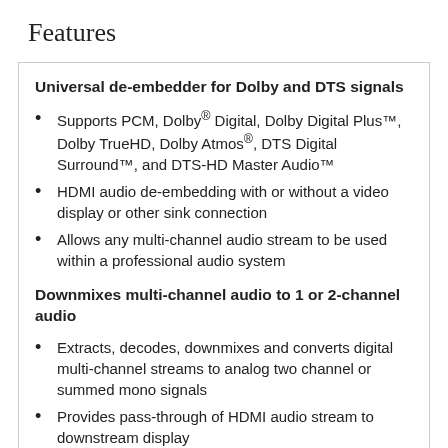Features
Universal de-embedder for Dolby and DTS signals
Supports PCM, Dolby® Digital, Dolby Digital Plus™, Dolby TrueHD, Dolby Atmos®, DTS Digital Surround™, and DTS-HD Master Audio™
HDMI audio de-embedding with or without a video display or other sink connection
Allows any multi-channel audio stream to be used within a professional audio system
Downmixes multi-channel audio to 1 or 2-channel audio
Extracts, decodes, downmixes and converts digital multi-channel streams to analog two channel or summed mono signals
Provides pass-through of HDMI audio stream to downstream display